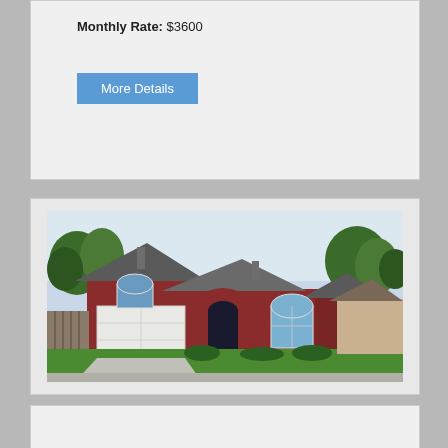Monthly Rate: $3600
More Details
[Figure (photo): Exterior photo of a single-story red brick house with white two-car garage, arched entry door, arched windows, green lawn, and trees in background]
Property 25399 - Cozy & Spacious Home in Garland, TX